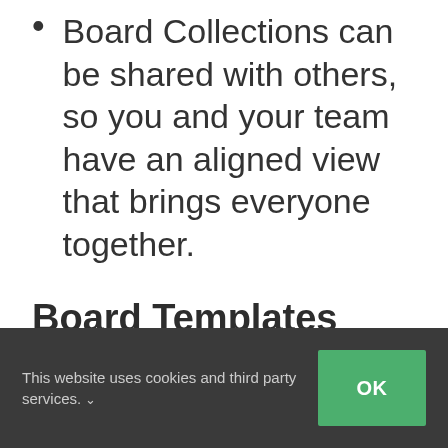Board Collections can be shared with others, so you and your team have an aligned view that brings everyone together.
Board Templates
Promote and make
This website uses cookies and third party services. ∨